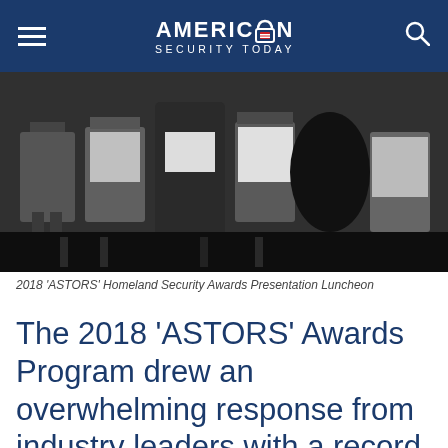AMERICAN SECURITY TODAY
[Figure (photo): 2018 ASTORS Homeland Security Awards Presentation Luncheon — attendees seated in folding chairs at a formal luncheon event, viewed from the side/back.]
2018 'ASTORS' Homeland Security Awards Presentation Luncheon
The 2018 'ASTORS' Awards Program drew an overwhelming response from industry leaders with a record high number of corporate and government nominations received, as well a